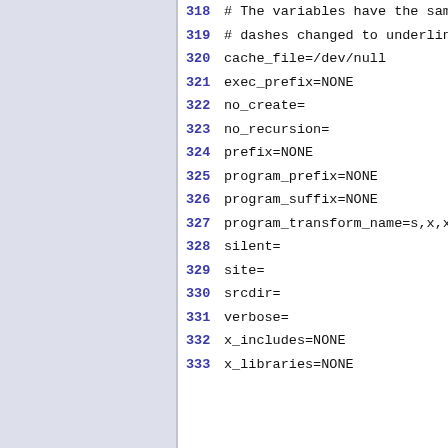318 # The variables have the same
319 # dashes changed to underline
320 cache_file=/dev/null
321 exec_prefix=NONE
322 no_create=
323 no_recursion=
324 prefix=NONE
325 program_prefix=NONE
326 program_suffix=NONE
327 program_transform_name=s,x,x,
328 silent=
329 site=
330 srcdir=
331 verbose=
332 x_includes=NONE
333 x_libraries=NONE